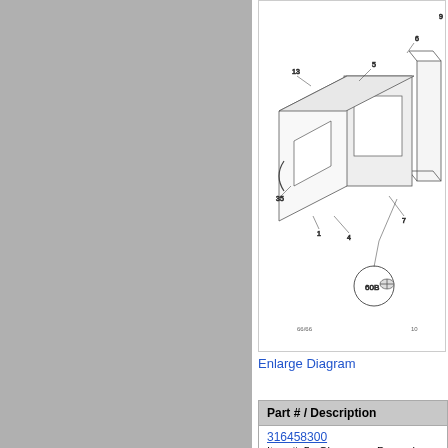[Figure (engineering-diagram): Exploded parts diagram of oven door assembly showing glass panels, frame components, and a screw detail (60B). Part numbers labeled: 5, 6, 7, 10, 13, 35, 60B, 66/66.]
Enlarge Diagram
| Part # / Description |
| --- |
| 316458300 |
| Item #: 5 : Glass,oven Door ,clear |
316458300
Item #: 5 : Glass,oven Door ,clear